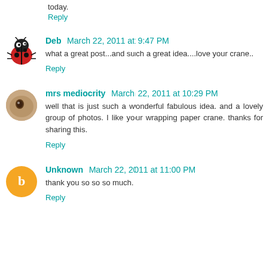today.
Reply
Deb March 22, 2011 at 9:47 PM
what a great post...and such a great idea....love your crane..
Reply
mrs mediocrity March 22, 2011 at 10:29 PM
well that is just such a wonderful fabulous idea. and a lovely group of photos. I like your wrapping paper crane. thanks for sharing this.
Reply
Unknown March 22, 2011 at 11:00 PM
thank you so so so much.
Reply